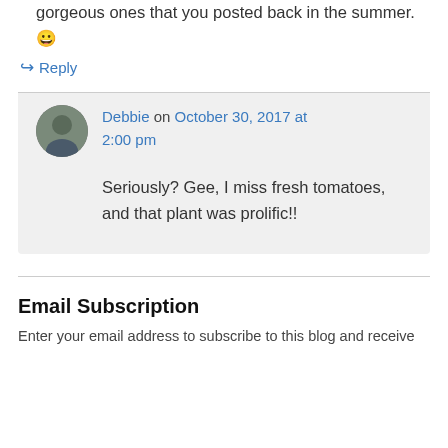gorgeous ones that you posted back in the summer. 😀
↪ Reply
Debbie on October 30, 2017 at 2:00 pm
Seriously? Gee, I miss fresh tomatoes, and that plant was prolific!!
Email Subscription
Enter your email address to subscribe to this blog and receive